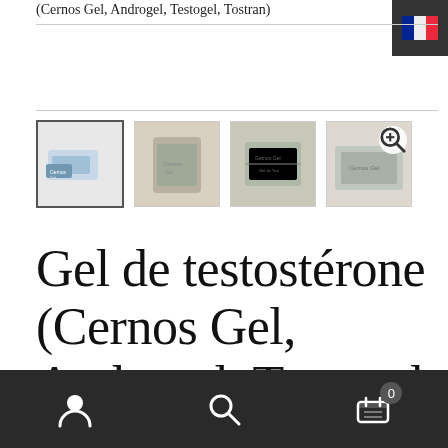(Cernos Gel, Androgel, Testogel, Tostran)
[Figure (screenshot): Four product thumbnail images of Cernos Gel / testosterone gel packaging, shown in a horizontal strip. First thumbnail has active border. Last thumbnail has a zoom magnifier icon overlay.]
Gel de testostérone (Cernos Gel, Androgel, Testogel, Tostran)
Navigation bar with user icon, search icon, and cart icon with badge showing 0